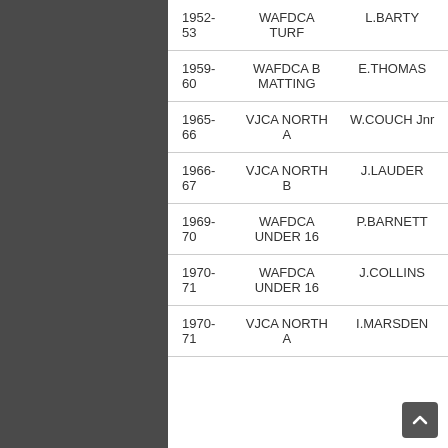| Year | Competition | Player |
| --- | --- | --- |
| 1952-53 | WAFDCA TURF | L.BARTY |
| 1959-60 | WAFDCA B MATTING | E.THOMAS |
| 1965-66 | VJCA NORTH A | W.COUCH Jnr |
| 1966-67 | VJCA NORTH B | J.LAUDER |
| 1969-70 | WAFDCA UNDER 16 | P.BARNETT |
| 1970-71 | WAFDCA UNDER 16 | J.COLLINS |
| 1970-71 | VJCA NORTH A | I.MARSDEN |